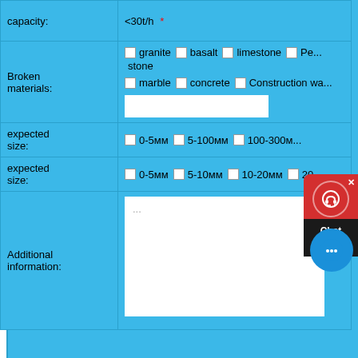| capacity: | <30t/h  * |
| Broken materials: | ☐ granite  ☐ basalt  ☐ limestone  ☐ Pe... stone
☐ marble  ☐ concrete  ☐ Construction wa...
[text input] |
| expected size: | ☐ 0-5мм  ☐ 5-100мм  ☐ 100-300м... |
| expected size: | ☐ 0-5мм  ☐ 5-10мм  ☐ 10-20мм  ☐ 20... |
| Additional information: | ... |